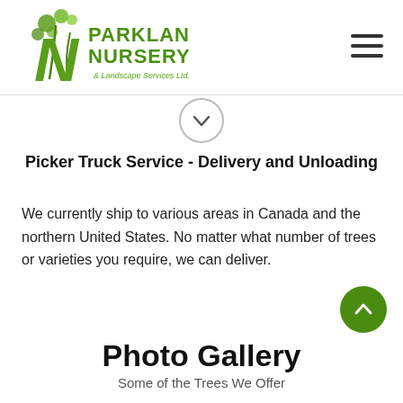[Figure (logo): Parkland Nursery & Landscape Services Ltd. logo with green plant/tree graphic and green text]
[Figure (other): Hamburger menu icon (three horizontal lines) in top right corner]
[Figure (other): Circular down-arrow button with grey border]
Picker Truck Service - Delivery and Unloading
We currently ship to various areas in Canada and the northern United States. No matter what number of trees or varieties you require, we can deliver.
[Figure (other): Green circular up-arrow scroll button]
Photo Gallery
Some of the Trees We Offer